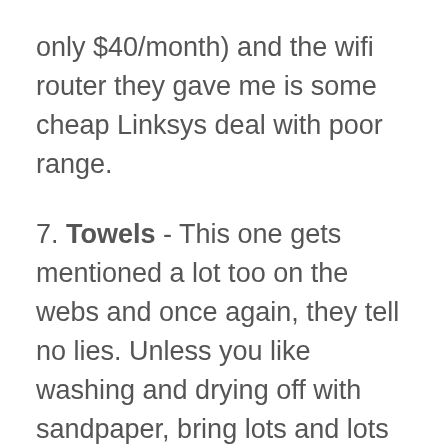only $40/month) and the wifi router they gave me is some cheap Linksys deal with poor range.
7. Towels - This one gets mentioned a lot too on the webs and once again, they tell no lies. Unless you like washing and drying off with sandpaper, bring lots and lots and lots of towels for your body and dishes. I'm so glad I stocked up and brought my own towels, I don't know what to do. When I got back to the states, I will stock up and bring some more. I also find these